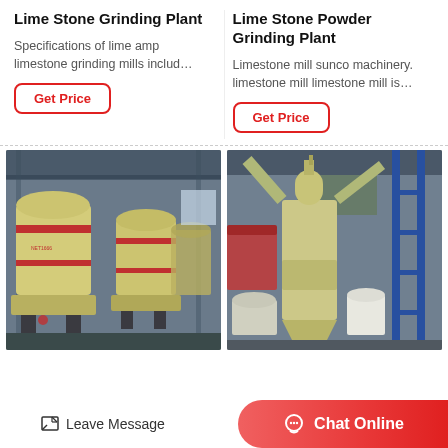Lime Stone Grinding Plant
Lime Stone Powder Grinding Plant
Specifications of lime amp limestone grinding mills includ…
Limestone mill sunco machinery. limestone mill limestone mill is…
[Figure (photo): Industrial lime stone grinding plant machines - large yellow cylindrical grinding mills in a factory setting]
[Figure (photo): Lime stone powder grinding plant - industrial grinding equipment with pipes and scaffolding in a factory]
Leave Message
Chat Online